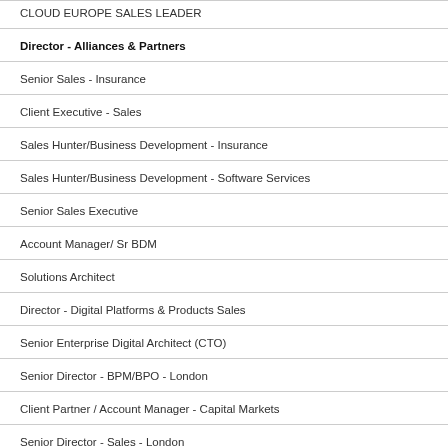CLOUD EUROPE SALES LEADER
Director - Alliances & Partners
Senior Sales - Insurance
Client Executive - Sales
Sales Hunter/Business Development - Insurance
Sales Hunter/Business Development - Software Services
Senior Sales Executive
Account Manager/ Sr BDM
Solutions Architect
Director - Digital Platforms & Products Sales
Senior Enterprise Digital Architect (CTO)
Senior Director - BPM/BPO - London
Client Partner / Account Manager - Capital Markets
Senior Director - Sales - London
VP of Banking, FS or Insurance - London
VP of Sales - Banking - London